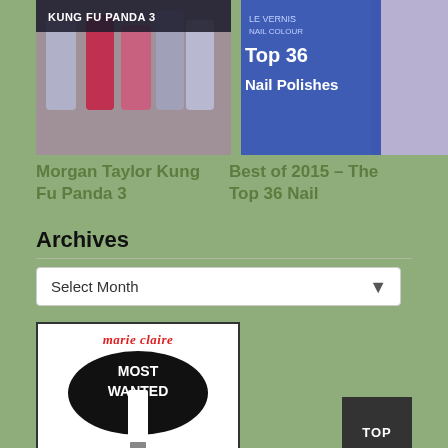[Figure (photo): Thumbnail image: Morgan Taylor Kung Fu Panda 3 nail polishes in purple, red and silver]
Morgan Taylor Kung Fu Panda 3
[Figure (photo): Thumbnail image: Best of 2015 Top 36 Nail Polishes promotional image with blue nail polish]
Best of 2015 – The Top 36 Nail
Archives
Select Month
[Figure (logo): Marie Claire Most Wanted Beauty Awards badge with makeup brush graphic]